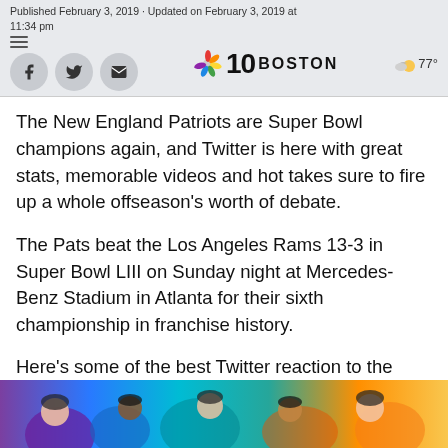Published February 3, 2019 · Updated on February 3, 2019 at 11:34 pm | NBC10 BOSTON | 77°
The New England Patriots are Super Bowl champions again, and Twitter is here with great stats, memorable videos and hot takes sure to fire up a whole offseason's worth of debate.
The Pats beat the Los Angeles Rams 13-3 in Super Bowl LIII on Sunday night at Mercedes-Benz Stadium in Atlanta for their sixth championship in franchise history.
Here's some of the best Twitter reaction to the Patriots winning another Super Bowl.
[Figure (photo): Colorful photo strip at bottom showing people celebrating, with purple, blue, teal, and orange tones]